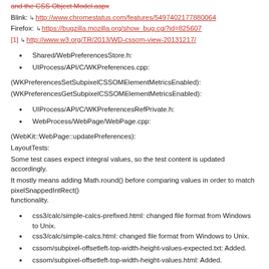and the CSS Object Model.aspx
Blink: http://www.chromestatus.com/features/5497402177880064
Firefox: https://bugzilla.mozilla.org/show_bug.cgi?id=825607
[1] http://www.w3.org/TR/2013/WD-cssom-view-20131217/
Shared/WebPreferencesStore.h:
UIProcess/API/C/WKPreferences.cpp:
(WKPreferencesSetSubpixelCSSOMElementMetricsEnabled):
(WKPreferencesGetSubpixelCSSOMElementMetricsEnabled):
UIProcess/API/C/WKPreferencesRefPrivate.h:
WebProcess/WebPage/WebPage.cpp:
(WebKit::WebPage::updatePreferences):
LayoutTests:
Some test cases expect integral values, so the test content is updated accordingly.
It mostly means adding Math.round() before comparing values in order to match pixelSnappedIntRect() functionality.
css3/calc/simple-calcs-prefixed.html: changed file format from Windows to Unix.
css3/calc/simple-calcs.html: changed file format from Windows to Unix.
cssom/subpixel-offsetleft-top-width-height-values-expected.txt: Added.
cssom/subpixel-offsetleft-top-width-height-values.html: Added.
editing/selection/drag-start-event-client-x-y.html: use floor as we compare the return value to a truncated integer.